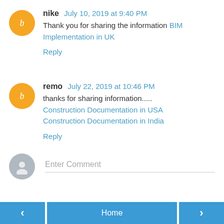nike  July 10, 2019 at 9:40 PM
Thank you for sharing the information BIM Implementation in UK
Reply
remo  July 22, 2019 at 10:46 PM
thanks for sharing information.....
Construction Documentation in USA
Construction Documentation in India
Reply
Enter Comment
< Home >